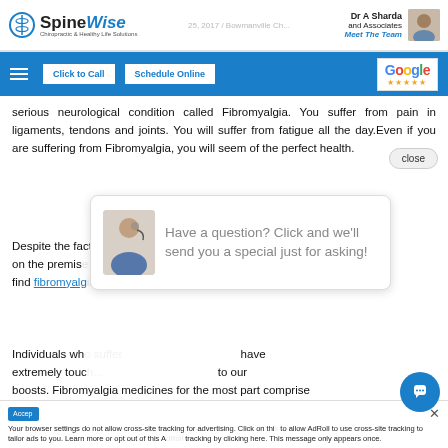SpineWise | Dr A Sharda and Associates | Meet The Team
serious neurological condition called Fibromyalgia. You suffer from pain in ligaments, tendons and joints. You will suffer from fatigue all the day. Even if you are suffering from Fibromyalgia, you will seem of the perfect health.
Despite the fact that the pain is suffered by individuals, it happens on the premises that it is easy to find fibromyalgia...
[Figure (screenshot): Chat popup overlay with headset avatar and text: Have a question? Click and we'll send you a special just for asking!]
Individuals who... have extremely touch... to our boosts. Fibromyalgia medicines for the most part comprise painkillers and sleeping drugs (utilized exclu...
Your browser settings do not allow cross-site tracking for advertising. Click on this to allow AdRoll to use cross-site tracking to tailor ads to you. Learn more or opt out of this AdRoll tracking by clicking here. This message only appears once.